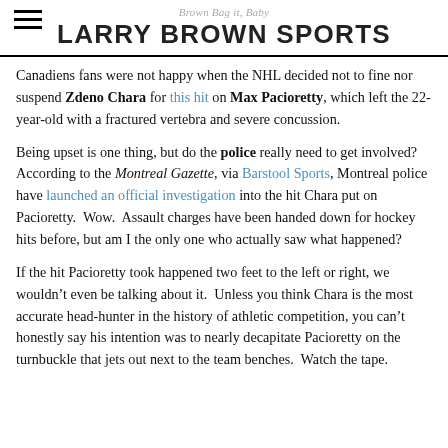Brown Bag it, Baby
LARRY BROWN SPORTS
Canadiens fans were not happy when the NHL decided not to fine nor suspend Zdeno Chara for this hit on Max Pacioretty, which left the 22-year-old with a fractured vertebra and severe concussion.
Being upset is one thing, but do the police really need to get involved? According to the Montreal Gazette, via Barstool Sports, Montreal police have launched an official investigation into the hit Chara put on Pacioretty.  Wow.  Assault charges have been handed down for hockey hits before, but am I the only one who actually saw what happened?
If the hit Pacioretty took happened two feet to the left or right, we wouldn’t even be talking about it.  Unless you think Chara is the most accurate head-hunter in the history of athletic competition, you can’t honestly say his intention was to nearly decapitate Pacioretty on the turnbuckle that jets out next to the team benches.  Watch the tape.